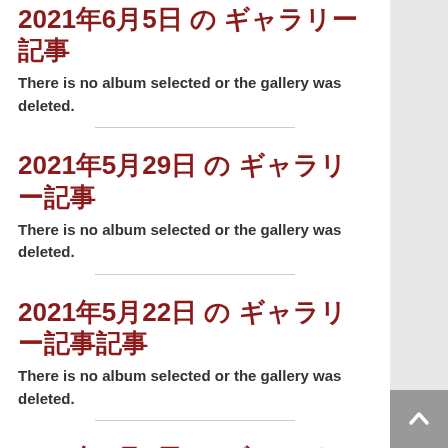2021年6月5日 の ギャラリー記事
There is no album selected or the gallery was deleted.
2021年5月29日 の ギャラリー記事
There is no album selected or the gallery was deleted.
2021年5月22日 の ギャラリー記事記事
There is no album selected or the gallery was deleted.
2021年5月8日 の ギャラリー記事
There is no album selected or the gallery was